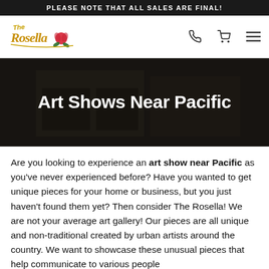PLEASE NOTE THAT ALL SALES ARE FINAL!
[Figure (logo): The Rosella logo with stylized text and rose graphic]
Art Shows Near Pacific
Are you looking to experience an art show near Pacific as you've never experienced before? Have you wanted to get unique pieces for your home or business, but you just haven't found them yet? Then consider The Rosella! We are not your average art gallery! Our pieces are all unique and non-traditional created by urban artists around the country. We want to showcase these unusual pieces that help communicate to various people